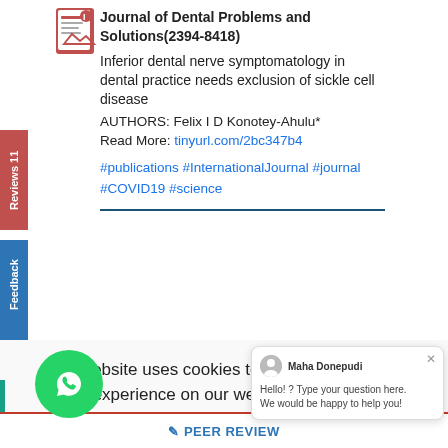Journal of Dental Problems and Solutions(2394-8418)
Inferior dental nerve symptomatology in dental practice needs exclusion of sickle cell disease
AUTHORS: Felix I D Konotey-Ahulu*
Read More: tinyurl.com/2bc347b4
#publications #InternationalJournal #journal #COVID19 #science
This website uses cookies to ensure you get the best experience on our website. Learn more
Yes, I understand
Maha Donepudi
Hello! ? Type your question here. We would be happy to help you!
PEER REVIEW